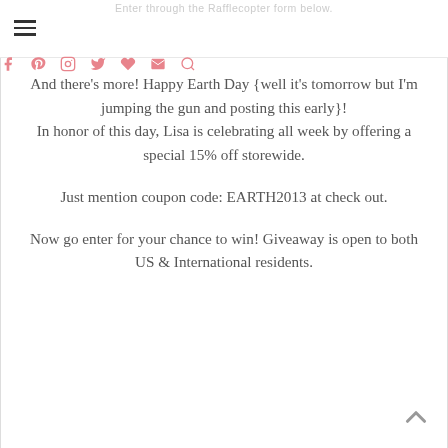Enter through the Rafflecopter form below.
And there's more! Happy Earth Day {well it's tomorrow but I'm jumping the gun and posting this early}!
In honor of this day, Lisa is celebrating all week by offering a special 15% off storewide.
Just mention coupon code: EARTH2013 at check out.
Now go enter for your chance to win! Giveaway is open to both US & International residents.